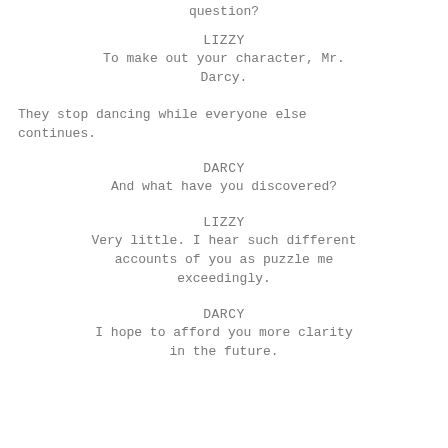question?
LIZZY
To make out your character, Mr. Darcy.
They stop dancing while everyone else continues.
DARCY
And what have you discovered?
LIZZY
Very little. I hear such different accounts of you as puzzle me exceedingly.
DARCY
I hope to afford you more clarity in the future.